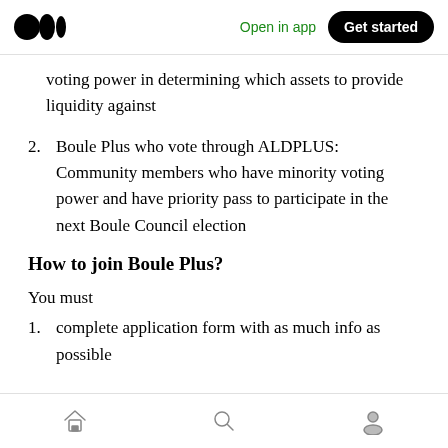Medium — Open in app | Get started
voting power in determining which assets to provide liquidity against
2. Boule Plus who vote through ALDPLUS: Community members who have minority voting power and have priority pass to participate in the next Boule Council election
How to join Boule Plus?
You must
1. complete application form with as much info as possible
Home | Search | Profile